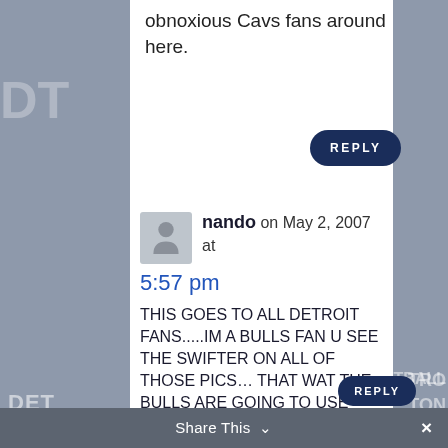obnoxious Cavs fans around here.
nando on May 2, 2007 at 5:57 pm
THIS GOES TO ALL DETROIT FANS.....IM A BULLS FAN U SEE THE SWIFTER ON ALL OF THOSE PICS… THAT WAT THE BULLS ARE GOING TO USE WHEN THEY SWEEP THE PISTONS
GO BULLLS
Share This  ∨